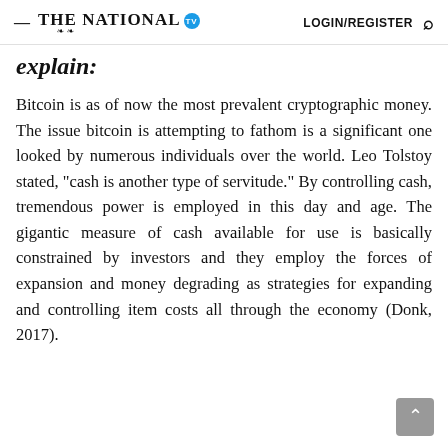— THE NATIONAL [TV] LOGIN/REGISTER [search]
explain:
Bitcoin is as of now the most prevalent cryptographic money. The issue bitcoin is attempting to fathom is a significant one looked by numerous individuals over the world. Leo Tolstoy stated, "cash is another type of servitude." By controlling cash, tremendous power is employed in this day and age. The gigantic measure of cash available for use is basically constrained by investors and they employ the forces of expansion and money degrading as strategies for expanding and controlling item costs all through the economy (Donk, 2017).